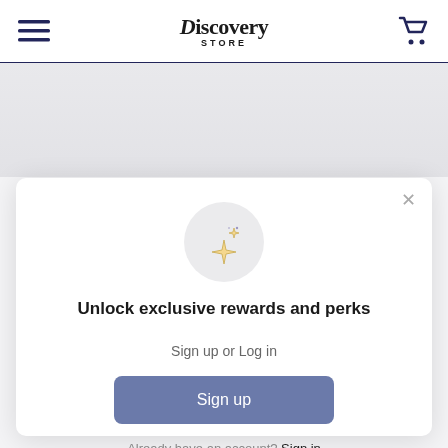Discovery Store
[Figure (illustration): Sparkle/stars icon inside a light gray circle]
Unlock exclusive rewards and perks
Sign up or Log in
Sign up
Already have an account? Sign in